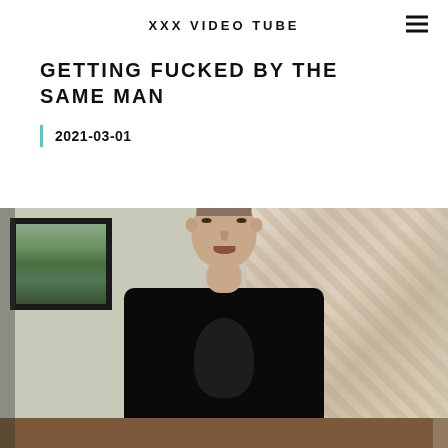XXX VIDEO TUBE
GETTING FUCKED BY THE SAME MAN
2021-03-01
[Figure (photo): A young man in a black t-shirt sitting on a sofa in a living room with a painting on the wall and curtains in the background, looking upward with a slight smile.]